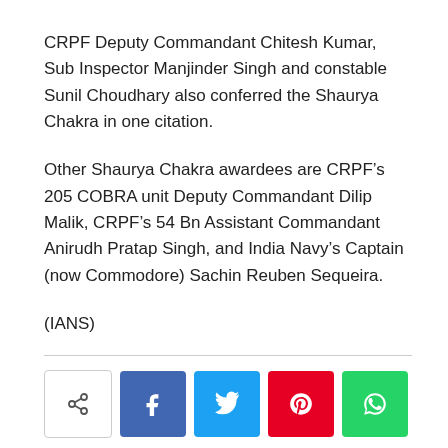CRPF Deputy Commandant Chitesh Kumar, Sub Inspector Manjinder Singh and constable Sunil Choudhary also conferred the Shaurya Chakra in one citation.
Other Shaurya Chakra awardees are CRPF’s 205 COBRA unit Deputy Commandant Dilip Malik, CRPF’s 54 Bn Assistant Commandant Anirudh Pratap Singh, and India Navy’s Captain (now Commodore) Sachin Reuben Sequeira.
(IANS)
[Figure (other): Social sharing buttons: share icon button, Facebook, Twitter, Pinterest, WhatsApp]